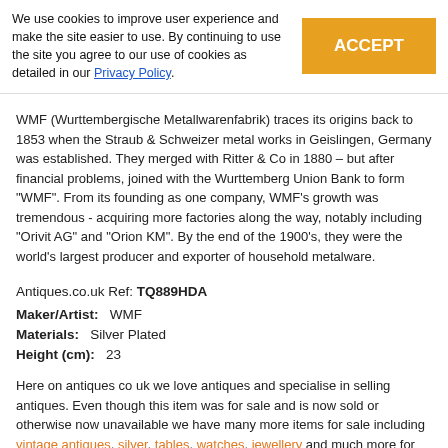We use cookies to improve user experience and make the site easier to use. By continuing to use the site you agree to our use of cookies as detailed in our Privacy Policy.
WMF (Wurtttembergische Metallwarenfabrik) traces its origins back to 1853 when the Straub & Schweizer metal works in Geislingen, Germany was established. They merged with Ritter & Co in 1880 – but after financial problems, joined with the Wurttemberg Union Bank to form "WMF". From its founding as one company, WMF's growth was tremendous - acquiring more factories along the way, notably including "Orivit AG" and "Orion KM". By the end of the 1900's, they were the world's largest producer and exporter of household metalware.
Antiques.co.uk Ref: TQ889HDA
Maker/Artist: WMF
Materials: Silver Plated
Height (cm): 23
Here on antiques co uk we love antiques and specialise in selling antiques. Even though this item was for sale and is now sold or otherwise now unavailable we have many more items for sale including vintage antiques, silver, tables, watches, jewellery and much more for your interiors and home.
search all the antiques currently for sale on www.antiques co uk. Or why not consider selling your antiques and making sales more easily with us!
[Figure (logo): Facebook and Twitter social media icons]